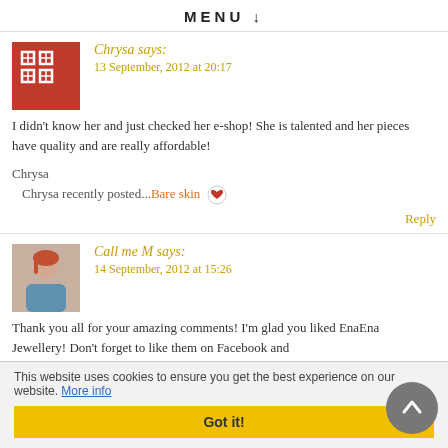MENU ↓
Chrysa says:
13 September, 2012 at 20:17

I didn't know her and just checked her e-shop! She is talented and her pieces have quality and are really affordable!

Chrysa
Chrysa recently posted...Bare skin
Reply
Call me M says:
14 September, 2012 at 15:26

Thank you all for your amazing comments! I'm glad you liked EnaEna Jewellery! Don't forget to like them on Facebook and
This website uses cookies to ensure you get the best experience on our website. More info
Got it!